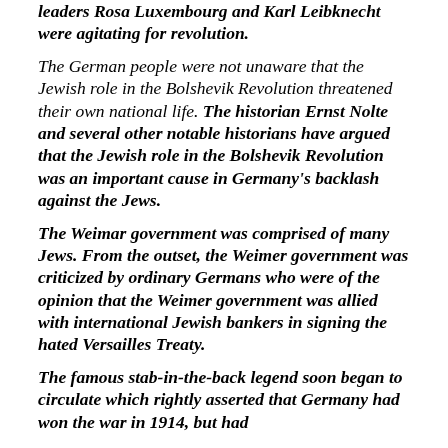leaders Rosa Luxembourg and Karl Leibknecht were agitating for revolution.
The German people were not unaware that the Jewish role in the Bolshevik Revolution threatened their own national life. The historian Ernst Nolte and several other notable historians have argued that the Jewish role in the Bolshevik Revolution was an important cause in Germany's backlash against the Jews.
The Weimar government was comprised of many Jews. From the outset, the Weimer government was criticized by ordinary Germans who were of the opinion that the Weimer government was allied with international Jewish bankers in signing the hated Versailles Treaty.
The famous stab-in-the-back legend soon began to circulate which rightly asserted that Germany had won the war in 1914, but had